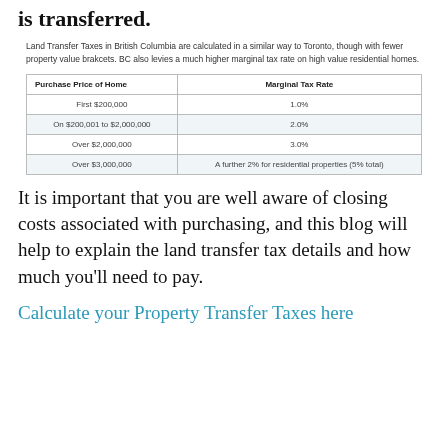is transferred.
Land Transfer Taxes in British Columbia are calculated in a similar way to Toronto, though with fewer property value brakcets. BC also levies a much higher marginal tax rate on high value residential homes.
| Purchase Price of Home | Marginal Tax Rate |
| --- | --- |
| First $200,000 | 1.0% |
| On $200,001 to $2,000,000 | 2.0% |
| Over $2,000,000 | 3.0% |
| Over $3,000,000 | A further 2% for residential properties (5% total) |
It is important that you are well aware of closing costs associated with purchasing, and this blog will help to explain the land transfer tax details and how much you’ll need to pay.
Calculate your Property Transfer Taxes here